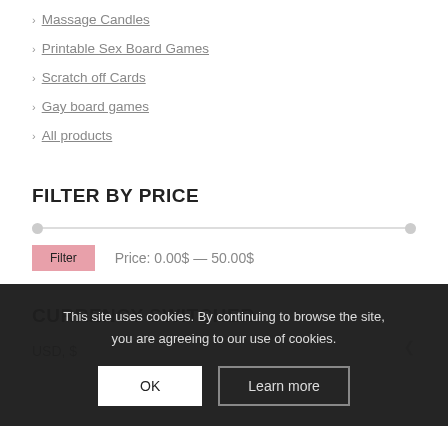Massage Candles
Printable Sex Board Games
Scratch off Cards
Gay board games
All products
FILTER BY PRICE
Price: 0.00$ — 50.00$
CURRENCY SWITCHER
USD, $
This site uses cookies. By continuing to browse the site, you are agreeing to our use of cookies.